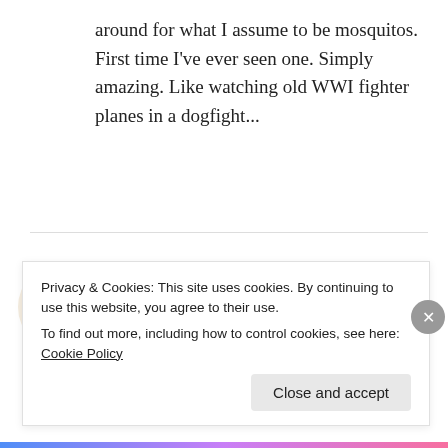around for what I assume to be mosquitos. First time I've ever seen one. Simply amazing. Like watching old WWI fighter planes in a dogfight...
REPLY
[Figure (illustration): Circular avatar with cartoon spider/insect character illustration on light peach background]
Jane Jestice
AUGUST 10, 2010 AT 2:22 PM
August 10th 2.20pm Soquel CA ( Santa Cruz
Privacy & Cookies: This site uses cookies. By continuing to use this website, you agree to their use.
To find out more, including how to control cookies, see here: Cookie Policy
Close and accept